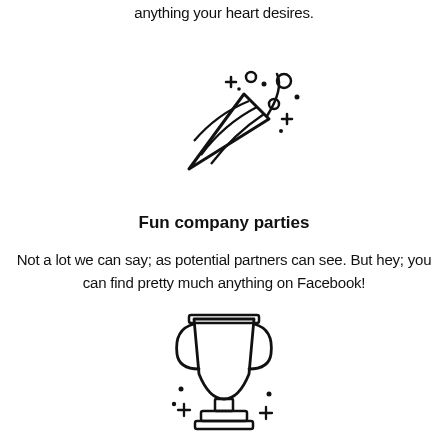anything your heart desires.
[Figure (illustration): Party popper / confetti popper icon with confetti pieces flying out, outline style]
Fun company parties
Not a lot we can say; as potential partners can see. But hey; you can find pretty much anything on Facebook!
[Figure (illustration): Trophy cup icon with sparkle dots, outline style]
Never stop winning!